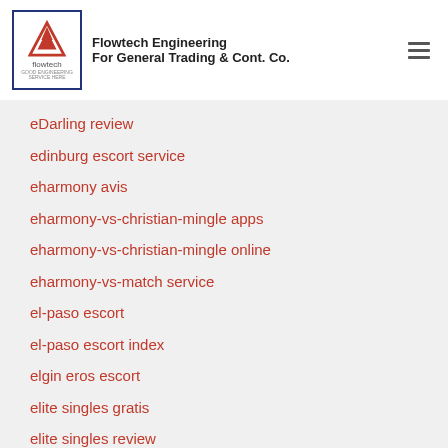Flowtech Engineering For General Trading & Cont. Co.
eDarling review
edinburg escort service
eharmony avis
eharmony-vs-christian-mingle apps
eharmony-vs-christian-mingle online
eharmony-vs-match service
el-paso escort
el-paso escort index
elgin eros escort
elite singles gratis
elite singles review